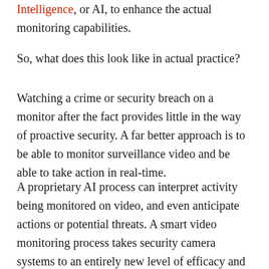Intelligence, or AI, to enhance the actual monitoring capabilities.
So, what does this look like in actual practice?
Watching a crime or security breach on a monitor after the fact provides little in the way of proactive security. A far better approach is to be able to monitor surveillance video and be able to take action in real-time.
A proprietary AI process can interpret activity being monitored on video, and even anticipate actions or potential threats. A smart video monitoring process takes security camera systems to an entirely new level of efficacy and deterrence. In other words, smart video monitoring becomes a truly proactive system.